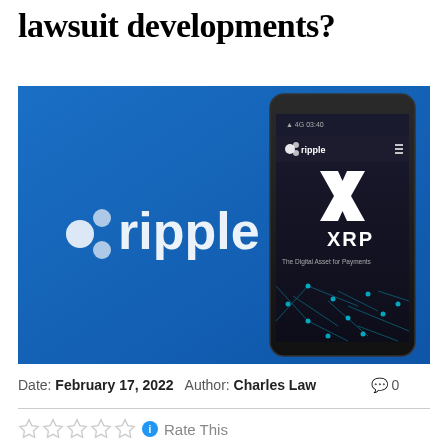lawsuit developments?
[Figure (photo): Ripple XRP branded image showing the Ripple logo on a blue background with a smartphone displaying the XRP app and 'The Digital Asset for Payments' text]
Date: February 17, 2022  Author: Charles Law  💬 0
Rate This